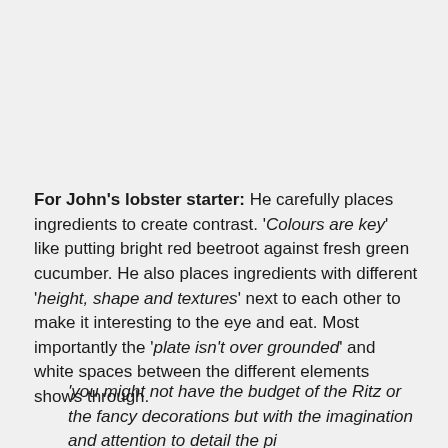For John's lobster starter: He carefully places ingredients to create contrast. 'Colours are key' like putting bright red beetroot against fresh green cucumber. He also places ingredients with different 'height, shape and textures' next to each other to make it interesting to the eye and eat. Most importantly the 'plate isn't over grounded' and white spaces between the different elements shows through.
'you might not have the budget of the Ritz or the fancy decorations but with the imagination and attention to detail the pizza...